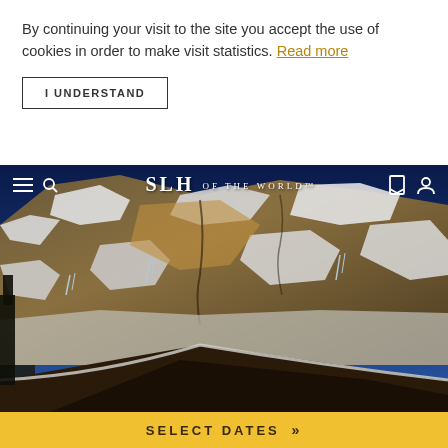By continuing your visit to the site you accept the use of cookies in order to make visit statistics. Read more
I UNDERSTAND
[Figure (photo): Snow-covered rocky mountain face with blue sky and a dark wooden rooftop in the foreground. A website navigation overlay shows 'SLH OF THE WORLD' logo with hamburger menu, search, bookmark, and user icons.]
SELECT DATES »